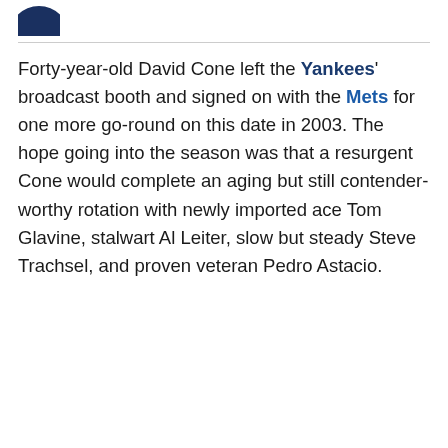[Figure (logo): Partial circular logo in dark navy blue, cropped at top-left corner]
Forty-year-old David Cone left the Yankees' broadcast booth and signed on with the Mets for one more go-round on this date in 2003. The hope going into the season was that a resurgent Cone would complete an aging but still contender-worthy rotation with newly imported ace Tom Glavine, stalwart Al Leiter, slow but steady Steve Trachsel, and proven veteran Pedro Astacio.